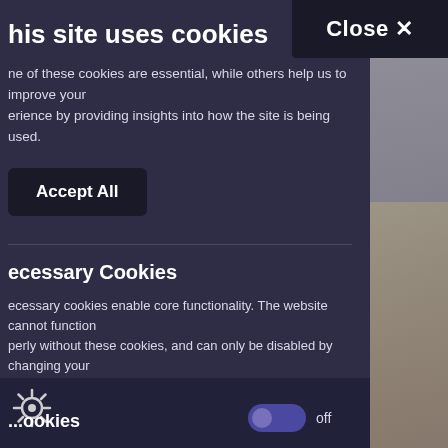[Figure (screenshot): Background photo of person at desk, partially visible on right side of page]
This site uses cookies
Some of these cookies are essential, while others help us to improve your experience by providing insights into how the site is being used.
Accept All
Necessary Cookies
Necessary cookies enable core functionality. The website cannot function properly without these cookies, and can only be disabled by changing your browser preferences.
Functional cookies
off
These help us personalise the website to you by remembering your preferences and settings.
off